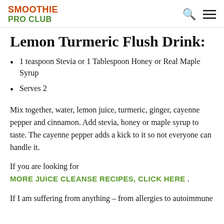SMOOTHIE PRO CLUB
Lemon Turmeric Flush Drink:
1 teaspoon Stevia or 1 Tablespoon Honey or Real Maple Syrup
Serves 2
Mix together, water, lemon juice, turmeric, ginger, cayenne pepper and cinnamon. Add stevia, honey or maple syrup to taste. The cayenne pepper adds a kick to it so not everyone can handle it.
If you are looking for MORE JUICE CLEANSE RECIPES, CLICK HERE . If I am suffering from anything – from allergies to autoimmune